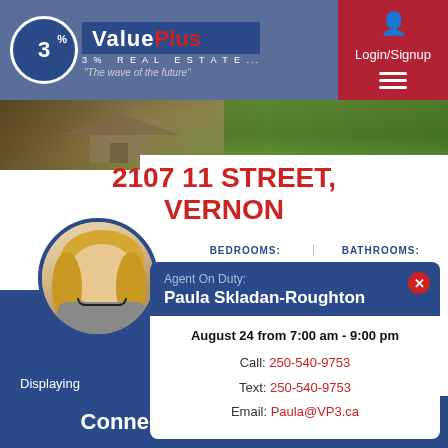[Figure (screenshot): ValuePlus 3% Real Estate logo with blue background header and Login/Signup button]
[Figure (photo): Exterior property photo strip showing a house with yard]
2107 11 STREET, VERNON
BEDROOMS: | BATHROOMS:
Agent On Duty: Paula Skladan-Roughton
August 24 from 7:00 am - 9:00 pm
Call: 250-540-9753
Text: 250-540-9753
Email: Paula@VP3.ca
Displaying
Connect with the VP3 Team